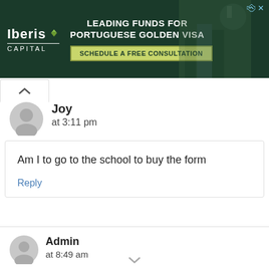[Figure (other): Advertisement banner for Iberis Capital - Leading Funds for Portuguese Golden Visa with Schedule a Free Consultation button]
Joy
at 3:11 pm
Am I to go to the school to buy the form
Reply
Admin
at 8:49 am